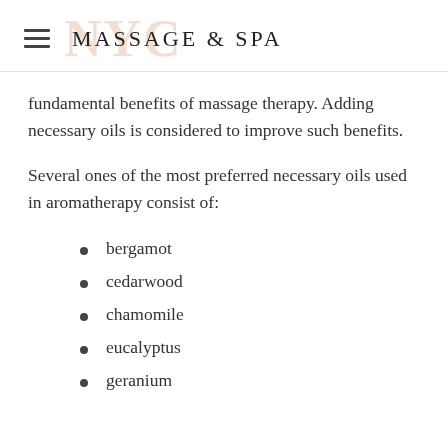MASSAGE & SPA
fundamental benefits of massage therapy. Adding necessary oils is considered to improve such benefits.
Several ones of the most preferred necessary oils used in aromatherapy consist of:
bergamot
cedarwood
chamomile
eucalyptus
geranium